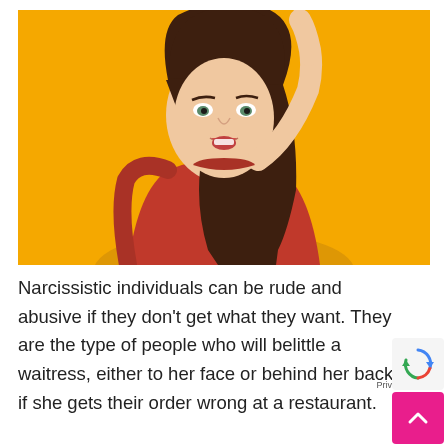[Figure (photo): A young woman with long brown hair wearing a red sweater, holding her hand up to her forehead making an 'L' loser sign gesture, mouth open, against a bright yellow/orange background.]
Narcissistic individuals can be rude and abusive if they don't get what they want. They are the type of people who will belittle a waitress, either to her face or behind her back, if she gets their order wrong at a restaurant.